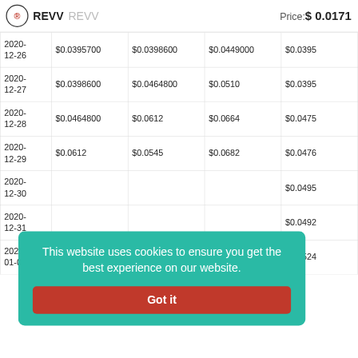REVV REVV   Price: $0.0171
| Date | Open | Close | High | Low |
| --- | --- | --- | --- | --- |
| 2020-12-26 | $0.0395700 | $0.0398600 | $0.0449000 | $0.0395... |
| 2020-12-27 | $0.0398600 | $0.0464800 | $0.0510 | $0.0395... |
| 2020-12-28 | $0.0464800 | $0.0612 | $0.0664 | $0.0475... |
| 2020-12-29 | $0.0612 | $0.0545 | $0.0682 | $0.0476... |
| 2020-12-30 | ... | ... | ... | $0.0495... |
| 2020-12-31 | ... | ... | ... | $0.0492... |
| 2021-01-01 | $0.0364 | $0.0365 | $0.0611 | $0.0524 |
This website uses cookies to ensure you get the best experience on our website.
Got it